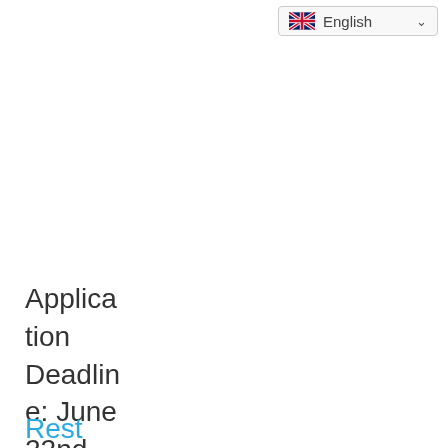[Figure (screenshot): Language selector dropdown showing UK flag and 'English' text with chevron]
Application Deadline: June 22nd 2018
Rest and